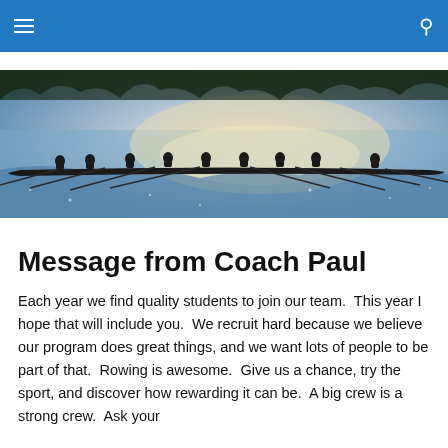Navigation bar with hamburger menu and search icon
[Figure (photo): Silhouette of a rowing crew team (8 rowers plus coxswain) on a glittering water surface, taken from a low angle with backlit sunlight creating bright reflections on the water.]
Message from Coach Paul
Each year we find quality students to join our team.  This year I hope that will include you.  We recruit hard because we believe our program does great things, and we want lots of people to be part of that.  Rowing is awesome.  Give us a chance, try the sport, and discover how rewarding it can be.  A big crew is a strong crew.  Ask your